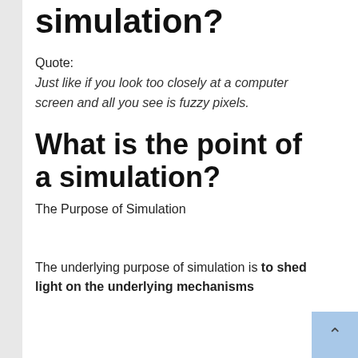simulation?
Quote:
Just like if you look too closely at a computer screen and all you see is fuzzy pixels.
What is the point of a simulation?
The Purpose of Simulation
The underlying purpose of simulation is to shed light on the underlying mechanisms